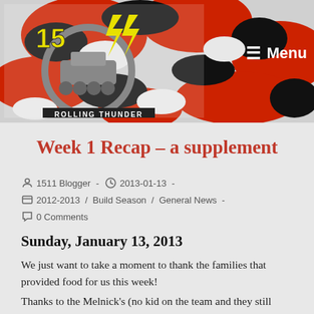[Figure (illustration): Website header banner with red/black/white camouflage pattern background. Left side shows 'Rolling Thunder' team logo with '1511' text, lightning bolts, gear and tank imagery. Right side shows hamburger menu icon with 'Menu' text in white.]
Week 1 Recap – a supplement
1511 Blogger  -  2013-01-13  -
2012-2013  /  Build Season  /  General News  -
0 Comments
Sunday, January 13, 2013
We just want to take a moment to thank the families that provided food for us this week!
Thanks to the Melnick's (no kid on the team and they still bring us food!), the Irwin family (two meals in one day!), the Murphy family, the Ellenberger family (both food in the same week, and b